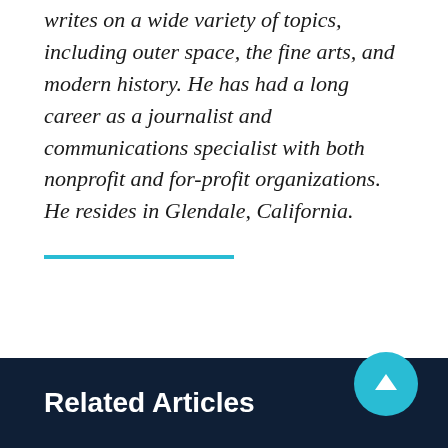writes on a wide variety of topics, including outer space, the fine arts, and modern history. He has had a long career as a journalist and communications specialist with both nonprofit and for-profit organizations. He resides in Glendale, California.
Related Articles